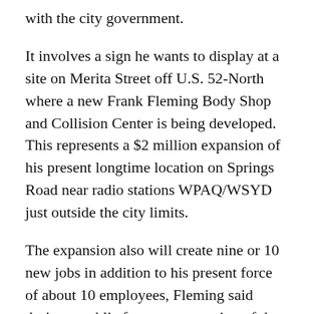with the city government.
It involves a sign he wants to display at a site on Merita Street off U.S. 52-North where a new Frank Fleming Body Shop and Collision Center is being developed. This represents a $2 million expansion of his present longtime location on Springs Road near radio stations WPAQ/WSYD just outside the city limits.
The expansion also will create nine or 10 new jobs in addition to his present force of about 10 employees, Fleming said during a public forum at a meeting of the Mount Airy Board of Commissioners.
However, the project — which involves the now-rundown site of a former Winn-Dixie supermarket — is being hindered by another city board's decision disallowing Fleming's use of an existing sign displayed by the grocery business before it closed. The body shop